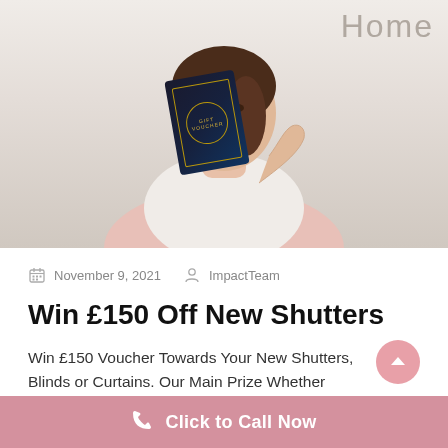[Figure (photo): Woman smiling and holding a dark gift voucher card, in a bright home/bedroom setting with 'Home' text visible in the top right corner]
November 9, 2021   ImpactTeam
Win £150 Off New Shutters
Win £150 Voucher Towards Your New Shutters, Blinds or Curtains. Our Main Prize Whether
Click to Call Now